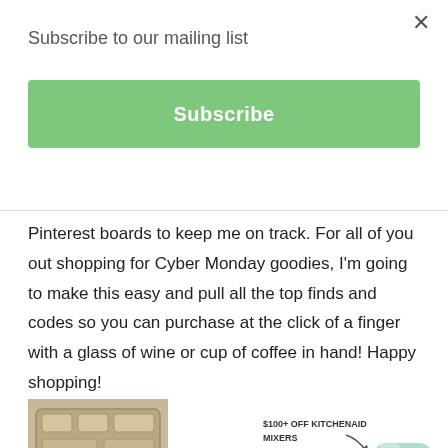Subscribe to our mailing list
Subscribe
Pinterest boards to keep me on track. For all of you out shopping for Cyber Monday goodies, I'm going to make this easy and pull all the top finds and codes so you can purchase at the click of a finger with a glass of wine or cup of coffee in hand! Happy shopping!
[Figure (photo): Photo of a tan/beige bamboo or wood organizer tray set with multiple compartments and dishes]
[Figure (photo): KitchenAid stand mixer in mint/light teal color with label '$100+ OFF KITCHENAID MIXERS' and arrow pointing to the mixer]
↑ 15 PC SET AT